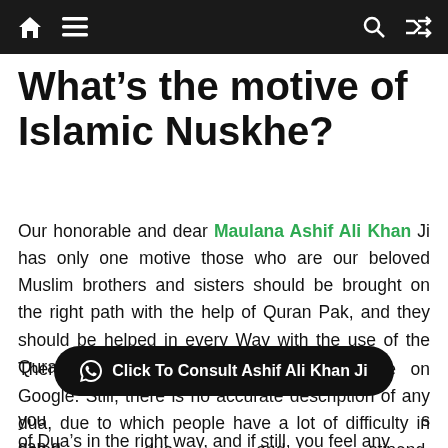Navigation bar with home, menu, search, and shuffle icons
What's the motive of Islamic Nuskhe?
Our honorable and dear Maulana Ashif Ali Khan Ji has only one motive those who are our beloved Muslim brothers and sisters should be brought on the right path with the help of Quran Pak, and they should be helped in every Way with the use of the Quran Pak.
There are many Islamic websites available on Google. Still, there is no accurate description of any dua, due to which people have a lot of difficulty in doing dua and stipend, but you can get of Dua's in the right way, and if still, you feel any
Click To Consult Ashif Ali Khan Ji